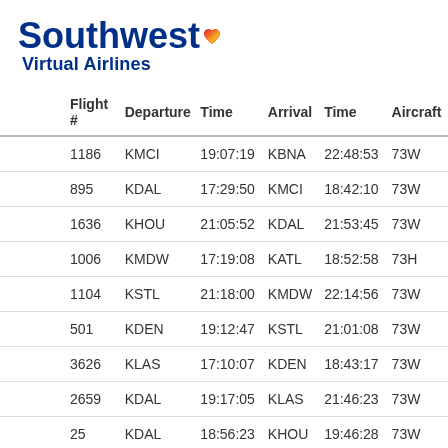[Figure (logo): Southwest Virtual Airlines logo with blue text and heart icon]
| Flight # | Departure | Time | Arrival | Time | Aircraft |
| --- | --- | --- | --- | --- | --- |
| 1186 | KMCI | 19:07:19 | KBNA | 22:48:53 | 73W |
| 895 | KDAL | 17:29:50 | KMCI | 18:42:10 | 73W |
| 1636 | KHOU | 21:05:52 | KDAL | 21:53:45 | 73W |
| 1006 | KMDW | 17:19:08 | KATL | 18:52:58 | 73H |
| 1104 | KSTL | 21:18:00 | KMDW | 22:14:56 | 73W |
| 501 | KDEN | 19:12:47 | KSTL | 21:01:08 | 73W |
| 3626 | KLAS | 17:10:07 | KDEN | 18:43:17 | 73W |
| 2659 | KDAL | 19:17:05 | KLAS | 21:46:23 | 73W |
| 25 | KDAL | 18:56:23 | KHOU | 19:46:28 | 73W |
| 699 | KMSY | 20:24:14 | KDAL | 21:43:11 | 73W |